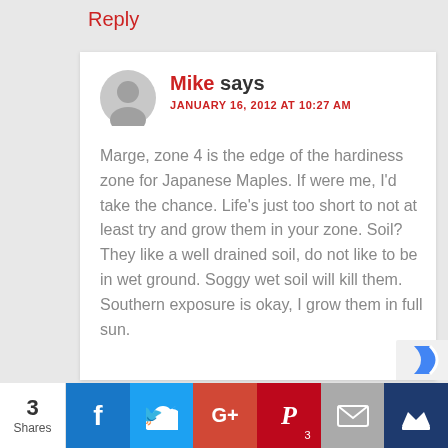Reply
Mike says
JANUARY 16, 2012 AT 10:27 AM
Marge, zone 4 is the edge of the hardiness zone for Japanese Maples. If were me, I'd take the chance. Life's just too short to not at least try and grow them in your zone. Soil? They like a well drained soil, do not like to be in wet ground. Soggy wet soil will kill them. Southern exposure is okay, I grow them in full sun.
3 Shares